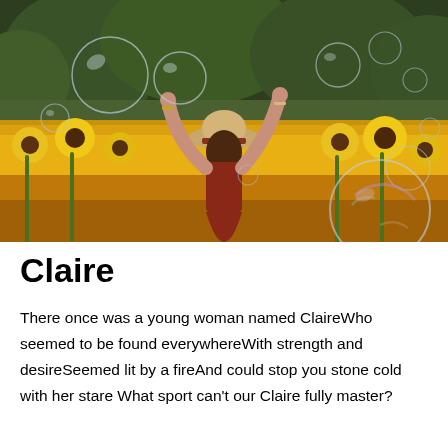[Figure (photo): A woman with arms raised in a sunflower field, surrounded by floating soap bubbles, viewed from behind wearing a straw hat and red dress, with green trees in the background.]
Claire
There once was a young woman named ClaireWho seemed to be found everywhereWith strength and desireSeemed lit by a fireAnd could stop you stone cold with her stare What sport can't our Claire fully master?